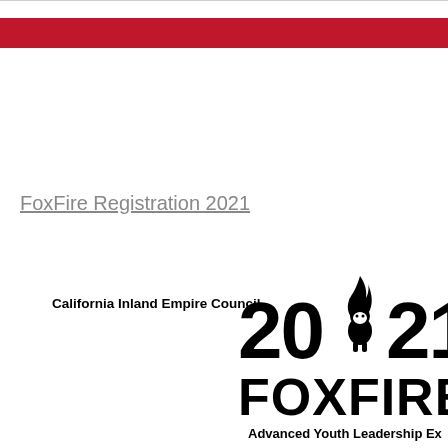FoxFire Registration 2021
[Figure (logo): California Inland Empire Council FoxFire 2021 Advanced Youth Leadership Experience logo with fox mascot holding a flame between '20' and '21', and 'FOXFIRE' text below]
Advanced Youth Leadership Ex...